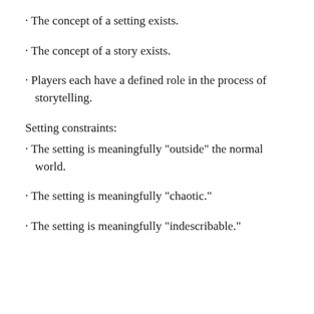· The concept of a setting exists.
· The concept of a story exists.
· Players each have a defined role in the process of storytelling.
Setting constraints:
· The setting is meaningfully “outside” the normal world.
· The setting is meaningfully “chaotic.”
· The setting is meaningfully “indescribable.”